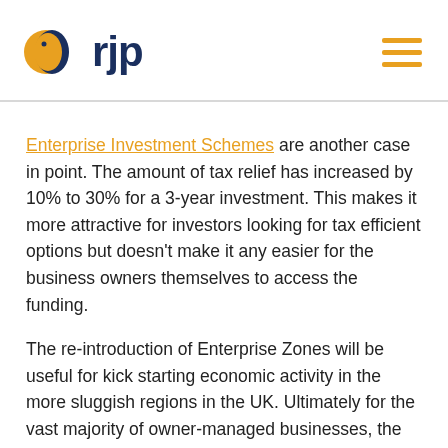rjp logo and navigation
Enterprise Investment Schemes are another case in point. The amount of tax relief has increased by 10% to 30% for a 3-year investment. This makes it more attractive for investors looking for tax efficient options but doesn't make it any easier for the business owners themselves to access the funding.
The re-introduction of Enterprise Zones will be useful for kick starting economic activity in the more sluggish regions in the UK. Ultimately for the vast majority of owner-managed businesses, the companies with turnovers of around £200K to